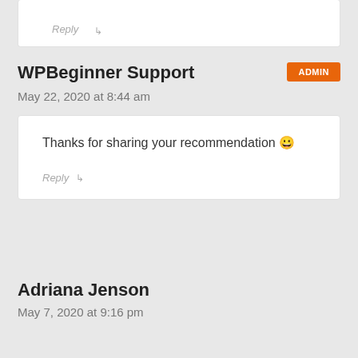Reply ↳
WPBeginner Support
ADMIN
May 22, 2020 at 8:44 am
Thanks for sharing your recommendation 😀
Reply ↳
Adriana Jenson
May 7, 2020 at 9:16 pm